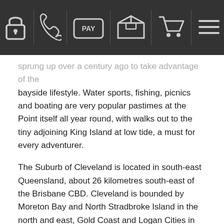[Navigation bar with icons: lock, phone, PAY, box, cart, menu]
sprung up over a century ago to take advantage of the bayside lifestyle. Water sports, fishing, picnics and boating are very popular pastimes at the Point itself all year round, with walks out to the tiny adjoining King Island at low tide, a must for every adventurer.
The Suburb of Cleveland is located in south-east Queensland, about 26 kilometres south-east of the Brisbane CBD. Cleveland is bounded by Moreton Bay and North Stradbroke Island in the north and east, Gold Coast and Logan Cities in the south, and Brisbane City in the west.
With all these great attributes Kennards Self Storage has invested in the Cleveland area for its 18th Queensland centre.